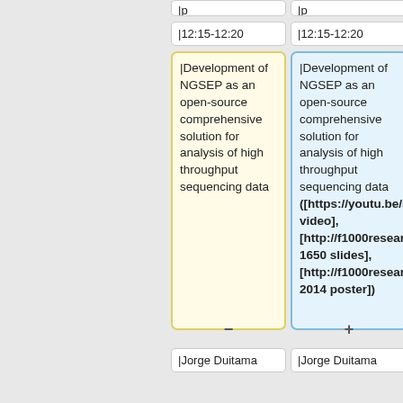| |12:15-12:20 | |12:15-12:20 |
| |Development of NGSEP as an open-source comprehensive solution for analysis of high throughput sequencing data | |Development of NGSEP as an open-source comprehensive solution for analysis of high throughput sequencing data ([https://youtu.be/51nuQ3c063Q video], [http://f1000research.com/slides/5-1650 slides], [http://f1000research.com/posters/5-2014 poster]) |
| |Jorge Duitama | |Jorge Duitama |